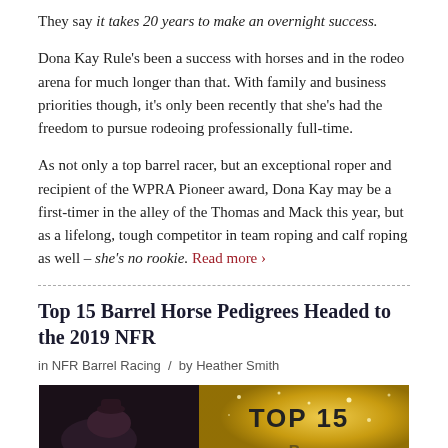They say it takes 20 years to make an overnight success.
Dona Kay Rule's been a success with horses and in the rodeo arena for much longer than that. With family and business priorities though, it's only been recently that she's had the freedom to pursue rodeoing professionally full-time.
As not only a top barrel racer, but an exceptional roper and recipient of the WPRA Pioneer award, Dona Kay may be a first-timer in the alley of the Thomas and Mack this year, but as a lifelong, tough competitor in team roping and calf roping as well – she's no rookie. Read more ›
Top 15 Barrel Horse Pedigrees Headed to the 2019 NFR
in NFR Barrel Racing / by Heather Smith
[Figure (photo): Article thumbnail image with a barrel racer and gold sparkle background with text 'TOP 15']